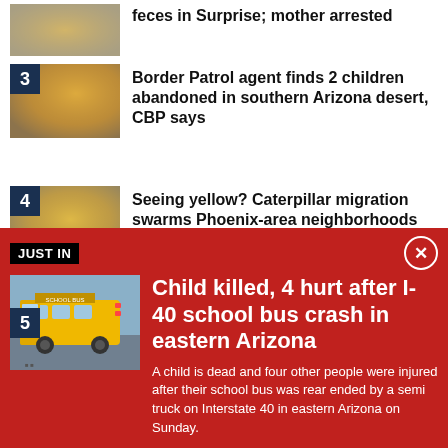feces in Surprise; mother arrested
3 Border Patrol agent finds 2 children abandoned in southern Arizona desert, CBP says
4 Seeing yellow? Caterpillar migration swarms Phoenix-area neighborhoods
5 Video shows brazen attempted kidnapping of 6-year-old girl from front
JUST IN
Child killed, 4 hurt after I-40 school bus crash in eastern Arizona
A child is dead and four other people were injured after their school bus was rear ended by a semi truck on Interstate 40 in eastern Arizona on Sunday.